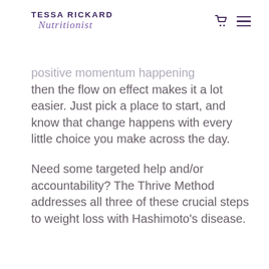TESSA RICKARD Nutritionist
positive momentum happening then the flow on effect makes it a lot easier. Just pick a place to start, and know that change happens with every little choice you make across the day.
Need some targeted help and/or accountability? The Thrive Method addresses all three of these crucial steps to weight loss with Hashimoto's disease.